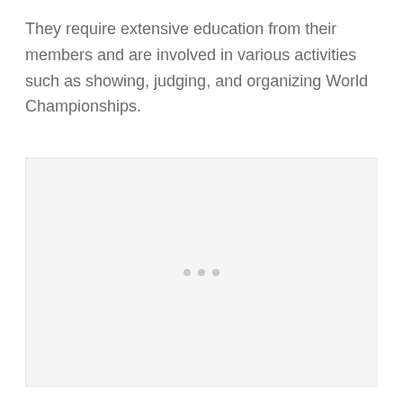They require extensive education from their members and are involved in various activities such as showing, judging, and organizing World Championships.
[Figure (other): A placeholder image area with a light gray background and three small gray dots centered near the bottom, indicating a loading or empty image state.]